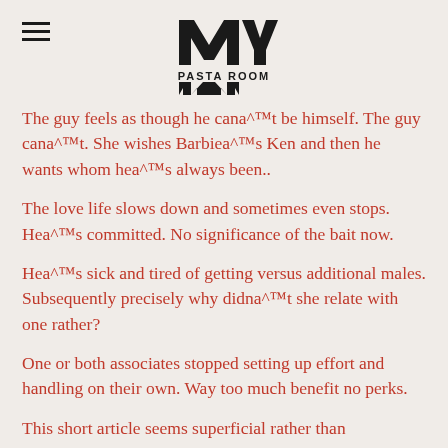MY PASTA ROOM
The guy feels as though he cana^™t be himself. The guy cana^™t. She wishes Barbiea^™s Ken and then he wants whom hea^™s always been..
The love life slows down and sometimes even stops. Hea^™s committed. No significance of the bait now.
Hea^™s sick and tired of getting versus additional males. Subsequently precisely why didna^™t she relate with one rather?
One or both associates stopped setting up effort and handling on their own. Way too much benefit no perks.
This short article seems superficial rather than